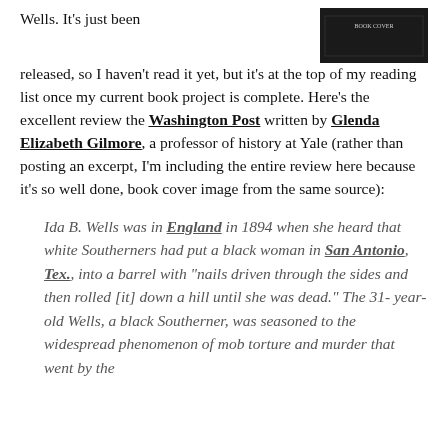[Figure (photo): Book cover image, dark background with text, partially visible at top right of page]
Wells. It's just been released, so I haven't read it yet, but it's at the top of my reading list once my current book project is complete. Here's the excellent review the Washington Post written by Glenda Elizabeth Gilmore, a professor of history at Yale (rather than posting an excerpt, I'm including the entire review here because it's so well done, book cover image from the same source):
Ida B. Wells was in England in 1894 when she heard that white Southerners had put a black woman in San Antonio, Tex., into a barrel with "nails driven through the sides and then rolled [it] down a hill until she was dead." The 31-year-old Wells, a black Southerner, was seasoned to the widespread phenomenon of mob torture and murder that went by the